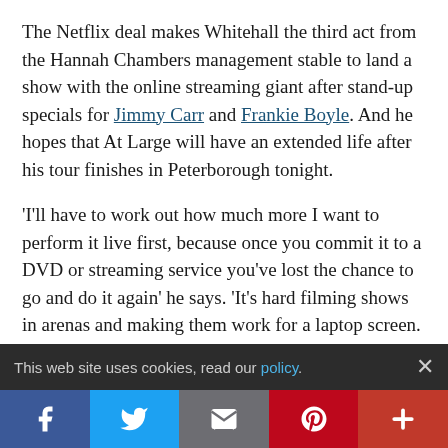The Netflix deal makes Whitehall the third act from the Hannah Chambers management stable to land a show with the online streaming giant after stand-up specials for Jimmy Carr and Frankie Boyle. And he hopes that At Large will have an extended life after his tour finishes in Peterborough tonight.
'I'll have to work out how much more I want to perform it live first, because once you commit it to a DVD or streaming service you've lost the chance to go and do it again' he says. 'It's hard filming shows in arenas and making them work for a laptop screen. So I want to get shit...
This web site uses cookies, read our policy.